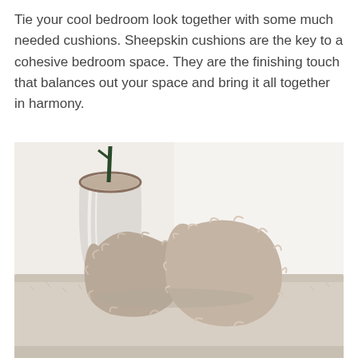Tie your cool bedroom look together with some much needed cushions. Sheepskin cushions are the key to a cohesive bedroom space. They are the finishing touch that balances out your space and bring it all together in harmony.
[Figure (photo): Photo of two fluffy sheepskin cushions in a beige/taupe color sitting on a plush upholstered bench, with a white ceramic vase and a plant stem visible in the background against a white wall.]